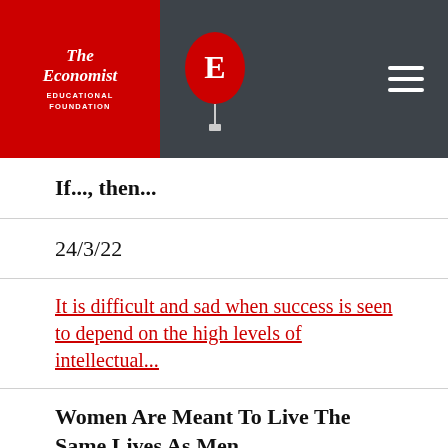The Economist Educational Foundation
If..., then...
24/3/22
It is difficult and sad when success is seen to depend on the high levels of intellectual...
Women Are Meant To Live The Same Lives As Men
24/3/22
Perhaps this is due to the principles rooted in the ancient origins of upbringing on which